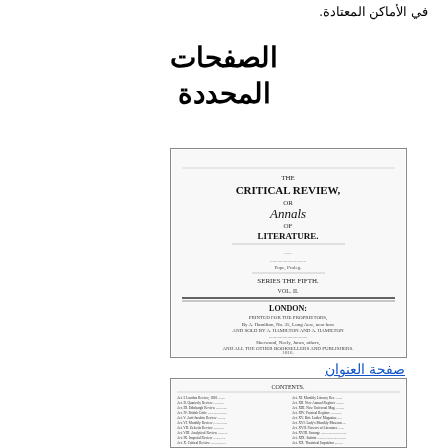في الأماكن المعتادة.
الصفحات المحددة
[Figure (screenshot): Thumbnail image of the title page of 'The Critical Review, or Annals of Literature', Series the Fifth, Vol. II, London edition]
صفحة العنوان
[Figure (screenshot): Thumbnail image of the contents/index page of the same publication, showing two columns of article listings with page numbers]